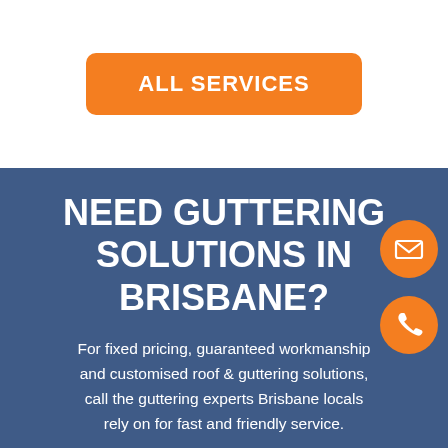ALL SERVICES
NEED GUTTERING SOLUTIONS IN BRISBANE?
For fixed pricing, guaranteed workmanship and customised roof & guttering solutions, call the guttering experts Brisbane locals rely on for fast and friendly service.